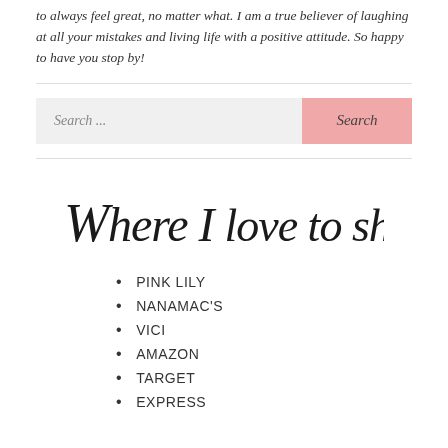to always feel great, no matter what. I am a true believer of laughing at all your mistakes and living life with a positive attitude. So happy to have you stop by!
[Figure (illustration): Decorative cursive/calligraphy text reading 'Where I love to shop']
PINK LILY
NANAMAC'S
VICI
AMAZON
TARGET
EXPRESS